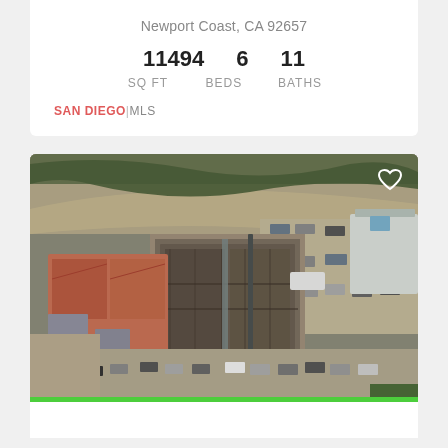Newport Coast, CA 92657
11494  6  11
SQ FT  BEDS  BATHS
SAN DIEGO|MLS
[Figure (photo): Aerial drone photograph of a large under-construction building site in Newport Coast, CA. Shows a partially built structure with exposed foundations and framing, surrounded by parking lots with cars, adjacent red-roofed residential buildings, a dirt road curving at the top, and neighboring properties to the right.]